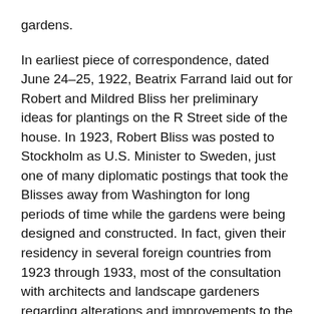gardens.
In earliest piece of correspondence, dated June 24–25, 1922, Beatrix Farrand laid out for Robert and Mildred Bliss her preliminary ideas for plantings on the R Street side of the house. In 1923, Robert Bliss was posted to Stockholm as U.S. Minister to Sweden, just one of many diplomatic postings that took the Blisses away from Washington for long periods of time while the gardens were being designed and constructed. In fact, given their residency in several foreign countries from 1923 through 1933, most of the consultation with architects and landscape gardeners regarding alterations and improvements to the property was carried out through letters and telegrams.
Astute users will discover that there is a lamentable gap in the correspondence for the years 1925–1933. We are